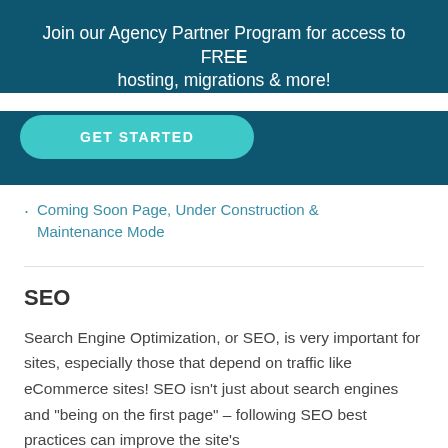Join our Agency Partner Program for access to FREE hosting, migrations & more!
[Figure (other): Teal rounded button labeled GET STARTED]
Coming Soon Page, Under Construction & Maintenance Mode
SEO
Search Engine Optimization, or SEO, is very important for sites, especially those that depend on traffic like eCommerce sites! SEO isn't just about search engines and "being on the first page" – following SEO best practices can improve the site's